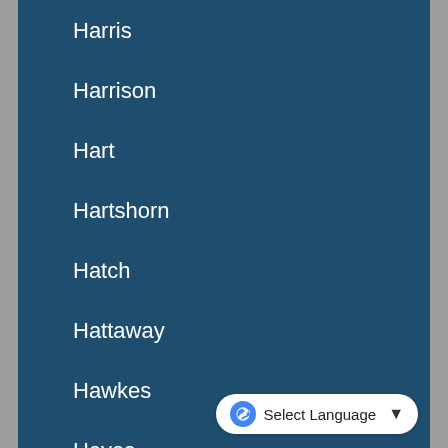Harris
Harrison
Hart
Hartshorn
Hatch
Hattaway
Hawkes
Hayes
Healey